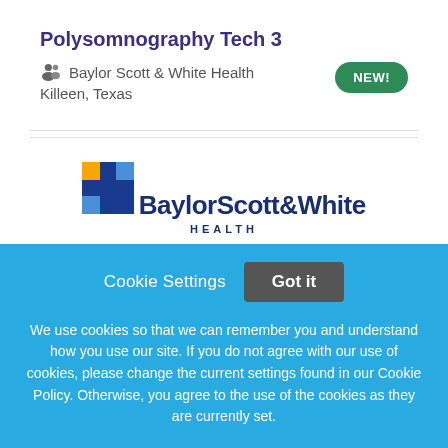Polysomnography Tech 3
Baylor Scott & White Health
Killeen, Texas
NEW!
[Figure (logo): Baylor Scott & White Health logo with cross icon]
Cookie Settings   Got it
We use cookies so that we can remember you and understand how you use our site. If you do not agree with our use of cookies, please change the current settings found in our Cookie Policy. Otherwise, you agree to the use of the cookies as they are currently set.